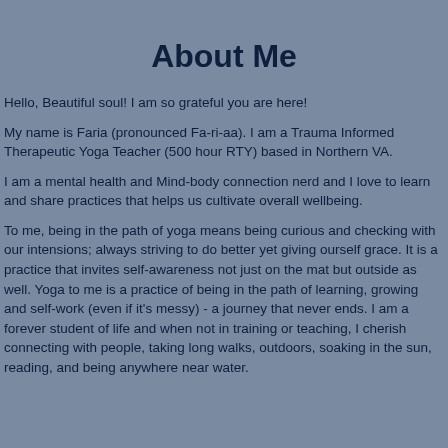About Me
Hello, Beautiful soul! I am so grateful you are here!
My name is Faria (pronounced Fa-ri-aa). I am a Trauma Informed Therapeutic Yoga Teacher (500 hour RTY) based in Northern VA.
I am a mental health and Mind-body connection nerd and I love to learn and share practices that helps us cultivate overall wellbeing.
To me, being in the path of yoga means being curious and checking with our intensions; always striving to do better yet giving ourself grace. It is a practice that invites self-awareness not just on the mat but outside as well. Yoga to me is a practice of being in the path of learning, growing and self-work (even if it's messy) - a journey that never ends. I am a forever student of life and when not in training or teaching, I cherish connecting with people, taking long walks, outdoors, soaking in the sun, reading, and being anywhere near water.